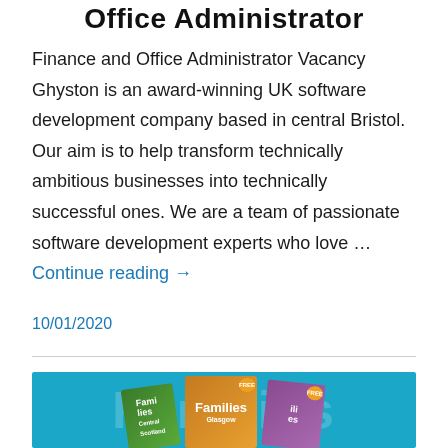Office Administrator
Finance and Office Administrator Vacancy Ghyston is an award-winning UK software development company based in central Bristol. Our aim is to help transform technically ambitious businesses into technically successful ones. We are a team of passionate software development experts who love … Continue reading →
10/01/2020
[Figure (photo): Families magazine promotional banner showing multiple issues of the Families magazine (Glasgow, Central Scotland) fanned out against a teal/blue background with 'Families' text watermark]